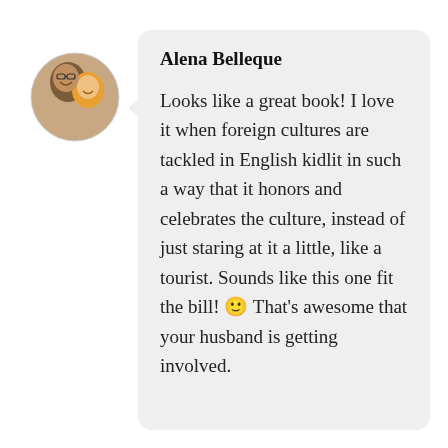[Figure (photo): Circular profile photo of a woman with a child, both smiling]
Alena Belleque
Looks like a great book! I love it when foreign cultures are tackled in English kidlit in such a way that it honors and celebrates the culture, instead of just staring at it a little, like a tourist. Sounds like this one fit the bill! 🙂 That's awesome that your husband is getting involved.